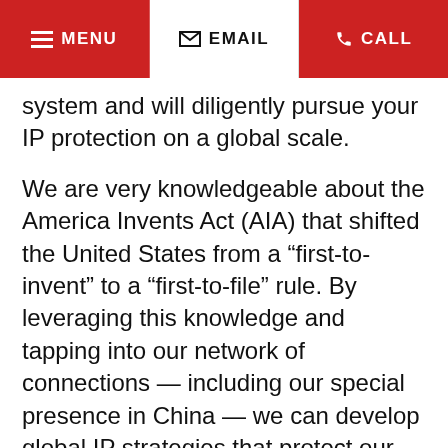MENU | EMAIL | CALL
system and will diligently pursue your IP protection on a global scale.
We are very knowledgeable about the America Invents Act (AIA) that shifted the United States from a “first-to-invent” to a “first-to-file” rule. By leveraging this knowledge and tapping into our network of connections — including our special presence in China — we can develop global IP strategies that protect our clients’ rights worldwide.
Read our article, published in Inside Counsel, titled, “ The top 4 advantages of trade secret protection.”